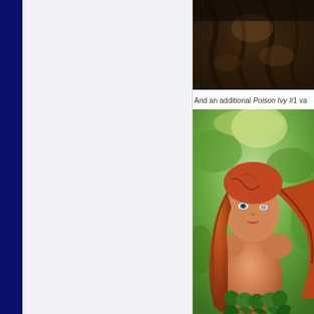[Figure (photo): Dark forest/bark texture photo, partially cropped, visible in upper right area]
And an additional Poison Ivy #1 va
[Figure (photo): Illustration of Poison Ivy character — red-haired woman with green eyes, bare shoulders, wearing green leaf costume, standing in a green forest background]